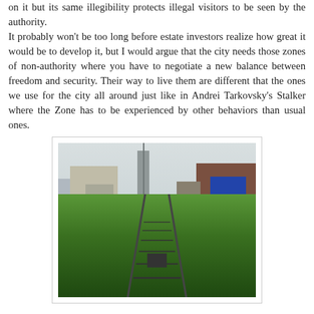on it but its same illegibility protects illegal visitors to be seen by the authority. It probably won't be too long before estate investors realize how great it would be to develop it, but I would argue that the city needs those zones of non-authority where you have to negotiate a new balance between freedom and security. Their way to live them are different that the ones we use for the city all around just like in Andrei Tarkovsky's Stalker where the Zone has to be experienced by other behaviors than usual ones.
[Figure (photo): A photograph of an overgrown urban railway line with lush green vegetation growing between and around the tracks, with city buildings visible in the background including a tall spire and brick buildings, under a grey overcast sky.]